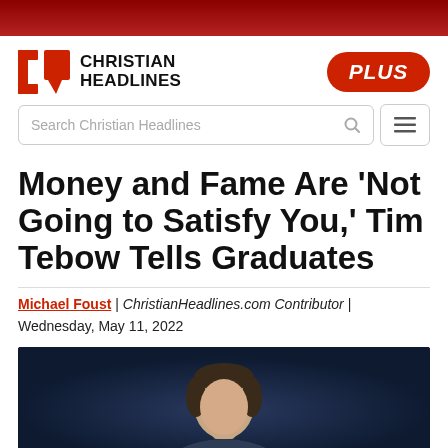[Figure (logo): Christian Headlines logo with red bracket-style icon and bold uppercase text]
[Figure (other): PLUS badge in red rounded pill shape with italic white text]
[Figure (screenshot): Search bar with text 'Search Christian Headlines' and a hamburger menu button]
Money and Fame Are 'Not Going to Satisfy You,' Tim Tebow Tells Graduates
Michael Foust | ChristianHeadlines.com Contributor | Wednesday, May 11, 2022
[Figure (photo): Photo of Tim Tebow against a dark blue background, showing his head and upper shoulders]